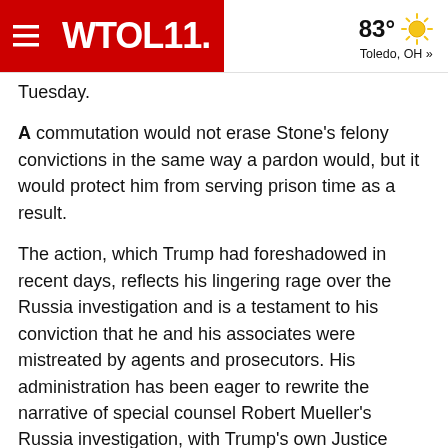WTOL11. | 83° Toledo, OH »
Tuesday.
A commutation would not erase Stone's felony convictions in the same way a pardon would, but it would protect him from serving prison time as a result.
The action, which Trump had foreshadowed in recent days, reflects his lingering rage over the Russia investigation and is a testament to his conviction that he and his associates were mistreated by agents and prosecutors. His administration has been eager to rewrite the narrative of special counsel Robert Mueller's Russia investigation, with Trump's own Justice Department moving in May to dismiss the criminal case against former national security adviser Michael Flynn.
Stone, for his part, had been open about his desire for a pardon or commutation, appealing for the president's help in a series of Instagram posts in which he maintained that